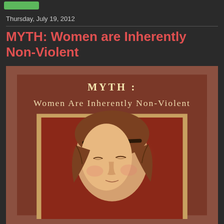Thursday, July 19, 2012
MYTH: Women are Inherently Non-Violent
[Figure (illustration): Illustrated poster with brown/terracotta background. Large bold text reads 'MYTH :' followed by 'Women Are Inherently Non-Violent'. Below is a framed portrait of a Renaissance-style woman with downcast eyes, brown hair with a headband, and a glowing halo effect around her head, set against a dark red background.]